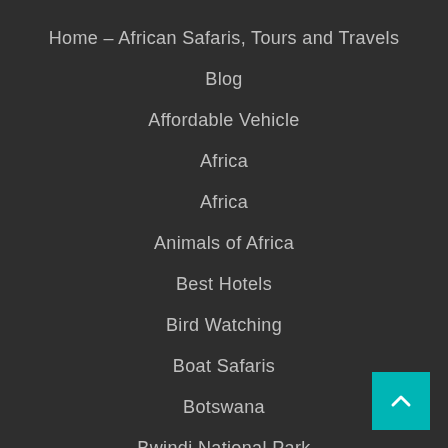Home – African Safaris, Tours and Travels
Blog
Affordable Vehicle
Africa
Africa
Animals of Africa
Best Hotels
Bird Watching
Boat Safaris
Botswana
Bwindi National Park
Cart